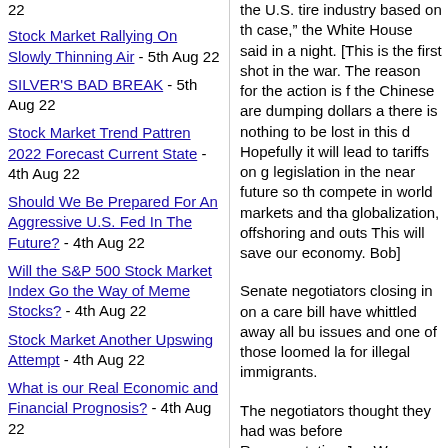22
Stock Market Rallying On Slowly Thinning Air - 5th Aug 22
SILVER'S BAD BREAK - 5th Aug 22
Stock Market Trend Pattren 2022 Forecast Current State - 4th Aug 22
Should We Be Prepared For An Aggressive U.S. Fed In The Future? - 4th Aug 22
Will the S&P 500 Stock Market Index Go the Way of Meme Stocks? - 4th Aug 22
Stock Market Another Upswing Attempt - 4th Aug 22
What is our Real Economic and Financial Prognosis? - 4th Aug 22
The REAL Stocks Bear Market of 2022 - 3rd Aug 22
The 'Wishful Thinking'
the U.S. tire industry based on the case," the White House said in a night. [This is the first shot in the war. The reason for the action is f the Chinese are dumping dollars a there is nothing to be lost in this d Hopefully it will lead to tariffs on g legislation in the near future so th compete in world markets and tha globalization, offshoring and outs This will save our economy. Bob]
Senate negotiators closing in on a care bill have whittled away all bu issues and one of those loomed la for illegal immigrants.
The negotiators thought they had was before Representative Joe W shouted "You lie!" at President Ob said in his speech to Congress th wouldn't be covered under his hea
That led the senators to revisit the have provisions in place to enforc illegal residents getting federally s